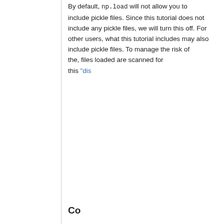By default, np.load will not allow you to load pickle files. Since this tutorial does not include any pickle files, we will turn this off. For other users, what this tutorial includes may also include pickle files. To manage the risk of this, files loaded are scanned for "dis...
[Figure (screenshot): Code block showing Python code with comments. First block: '# ...' comment followed by 'np...' code. Second block: '# ...' comment followed by 'g...' lines and italic/gray 'p...' and 'r...' lines.]
Co...